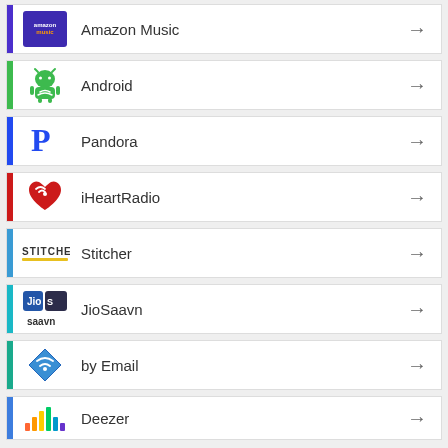Amazon Music
Android
Pandora
iHeartRadio
Stitcher
JioSaavn
by Email
Deezer